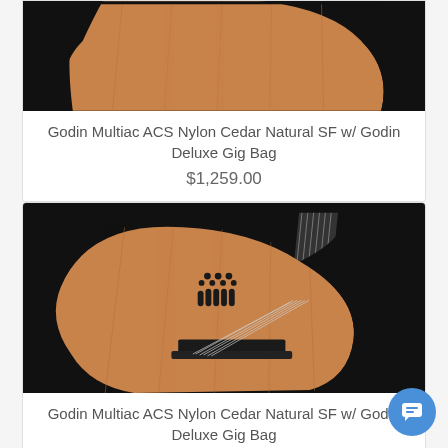[Figure (photo): Partial top view of Godin Multiac ACS Nylon Cedar Natural SF guitar on black background, showing body and cutaway]
Godin Multiac ACS Nylon Cedar Natural SF w/ Godin Deluxe Gig Bag
$1,259.00
[Figure (photo): Full front view of Godin Multiac ACS Nylon Cedar Natural SF guitar on black background, showing body, sound hole, bridge, neck and strings]
Godin Multiac ACS Nylon Cedar Natural SF w/ Godin Deluxe Gig Bag
$1,259.00